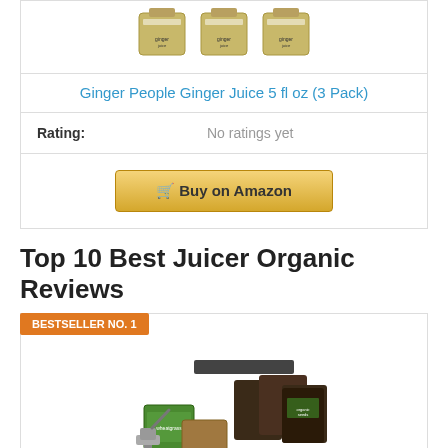[Figure (photo): Three bottles of Ginger People Ginger Juice 5 fl oz]
Ginger People Ginger Juice 5 fl oz (3 Pack)
| Rating: | No ratings yet |
[Figure (other): Buy on Amazon button]
Top 10 Best Juicer Organic Reviews
BESTSELLER NO. 1
[Figure (photo): Juicer organic kit with wheatgrass, soil bags, seeds and manual juicer]